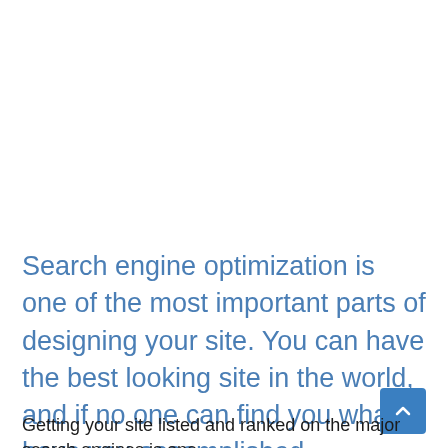Search engine optimization is one of the most important parts of designing your site. You can have the best looking site in the world, and if no one can find you what have you accomplished.
Getting your site listed and ranked on the major search engines is one